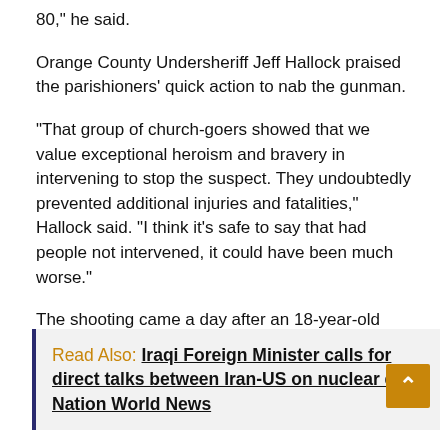80," he said.
Orange County Undersheriff Jeff Hallock praised the parishioners' quick action to nab the gunman.
"That group of church-goers showed that we value exceptional heroism and bravery in intervening to stop the suspect. They undoubtedly prevented additional injuries and fatalities," Hallock said. "I think it's safe to say that had people not intervened, it could have been much worse."
The shooting came a day after an 18-year-old man was shot and killed at a supermarket in Buffalo, New York.,
Read Also: Iraqi Foreign Minister calls for direct talks between Iran-US on nuclear deal Nation World News